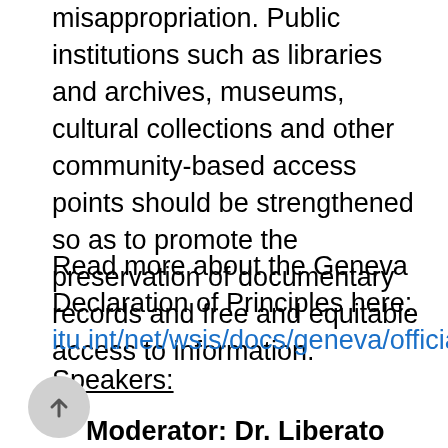misappropriation. Public institutions such as libraries and archives, museums, cultural collections and other community-based access points should be strengthened so as to promote the preservation of documentary records and free and equitable access to information.
Read more about the Geneva Declaration of Principles here: itu.int/net/wsis/docs/geneva/official/dop.html
Speakers:
Moderator: Dr. Liberato Bautista (High-Level Track Facilitator), President, Conference of Non-Governmental